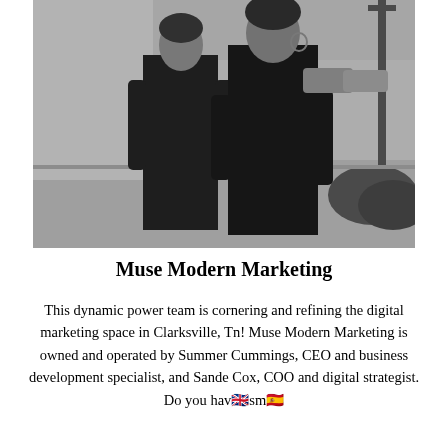[Figure (photo): Black and white photograph of two women standing together outdoors on a sidewalk, both dressed in black clothing. Urban background with a street lamp and foliage visible.]
Muse Modern Marketing
This dynamic power team is cornering and refining the digital marketing space in Clarksville, Tn! Muse Modern Marketing is owned and operated by Summer Cummings, CEO and business development specialist, and Sande Cox, COO and digital strategist. Do you hav🇬🇧sm🇪🇸